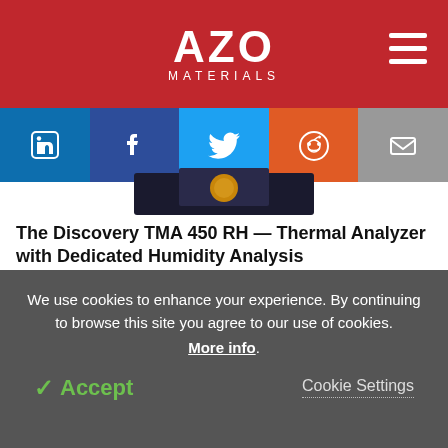AZO MATERIALS
[Figure (logo): AZO Materials logo on red background with hamburger menu icon]
[Figure (infographic): Social media share buttons: LinkedIn, Facebook, Twitter, Reddit, Email]
[Figure (photo): Partial top view of a scientific instrument on a dark surface]
The Discovery TMA 450 RH — Thermal Analyzer with Dedicated Humidity Analysis
[Figure (photo): Discovery TMA 450 RH thermal analyzer instrument — grey laboratory equipment with control panels]
We use cookies to enhance your experience. By continuing to browse this site you agree to our use of cookies. More info.
✓ Accept   Cookie Settings